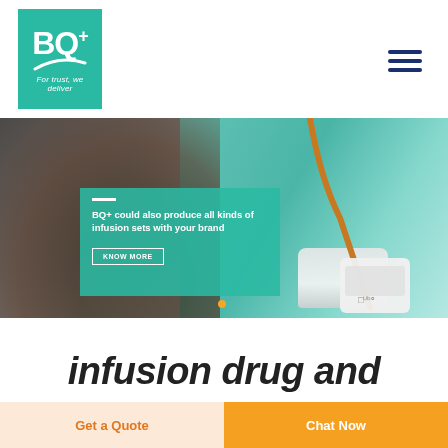[Figure (logo): BQ+ logo in teal square with tagline 'For trust, we deliver']
[Figure (photo): Hero banner photo showing a person in teal surgical gloves handling a medical infusion tube/set with a white device, overlaid with a teal semi-transparent box containing promotional text and a 'KNOW MORE' button]
BQ+ could also produce all kinds of infusion sets with your brand
infusion drug and
Get a Quote
Chat Now